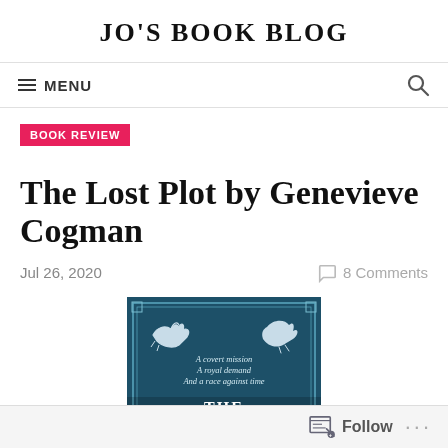JO'S BOOK BLOG
MENU
BOOK REVIEW
The Lost Plot by Genevieve Cogman
Jul 26, 2020   8 Comments
[Figure (photo): Book cover of The Lost Plot — dark teal background with white running dog silhouettes and decorative border. Text reads: A covert mission, A royal demand, And a race against time. THE LOST (partially visible)]